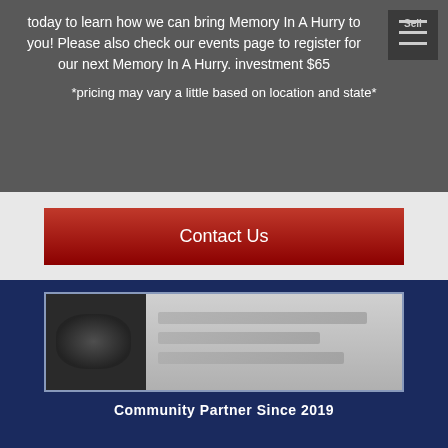today to learn how we can bring Memory In A Hurry to you! Please also check our events page to register for our next Memory In A Hurry. investment $65
*pricing may vary a little based on location and state*
Contact Us
[Figure (logo): Logo image with blurred left portion (dark cloud-like graphic) and blurred right portion (light text on gradient background)]
Community Partner Since 2019